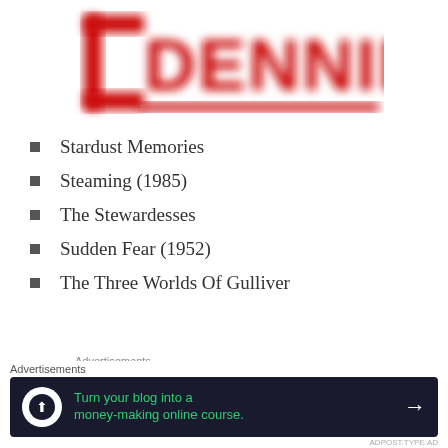[Figure (logo): Partially visible red stylized logo text (appears to be 'DENNIE' or similar) on white background, blurred/cropped at top]
Stardust Memories
Steaming (1985)
The Stewardesses
Sudden Fear (1952)
The Three Worlds Of Gulliver
Advertisements
The go-to app for podcast
[Figure (illustration): Green triangle corner graphic with white text overlay]
Advertisements
[Figure (screenshot): Dark navy advertisement banner: circle icon with house/upload symbol, green text 'Turn your blog into a money-making online course.' with white arrow]